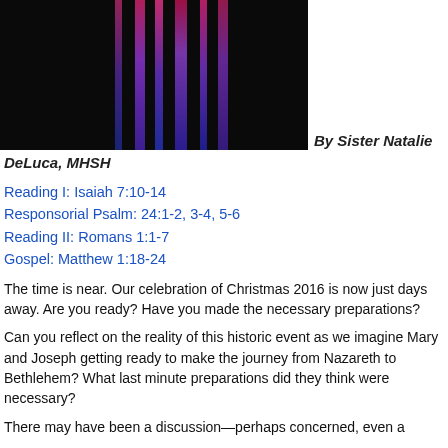[Figure (photo): Dark background image with vertical glowing purple and red light streaks or candles]
By Sister Natalie DeLuca, MHSH
Reading I: Isaiah 7:10-14
Responsorial Psalm: 24:1-2, 3-4, 5-6
Reading II: Romans 1:1-7
Gospel: Matthew 1:18-24
The time is near. Our celebration of Christmas 2016 is now just days away. Are you ready? Have you made the necessary preparations?
Can you reflect on the reality of this historic event as we imagine Mary and Joseph getting ready to make the journey from Nazareth to Bethlehem? What last minute preparations did they think were necessary?
There may have been a discussion—perhaps concerned, even a